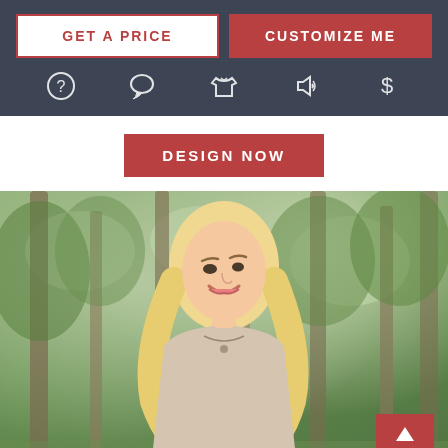[Figure (screenshot): Navigation bar with GET A PRICE and CUSTOMIZE ME buttons, plus icon row with question mark, chat bubble, shirt, megaphone, and dollar sign icons]
[Figure (photo): Young blonde woman smiling outdoors with green trees in the background, wearing a light beige top and necklace. A red TOP button with upward arrow is in the bottom right corner.]
DESIGN NOW
TOP